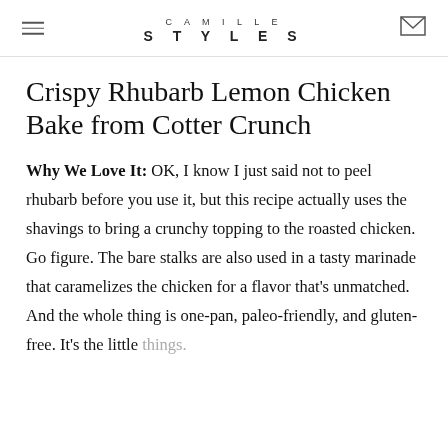CAMILLE STYLES
Crispy Rhubarb Lemon Chicken Bake from Cotter Crunch
Why We Love It: OK, I know I just said not to peel rhubarb before you use it, but this recipe actually uses the shavings to bring a crunchy topping to the roasted chicken. Go figure. The bare stalks are also used in a tasty marinade that caramelizes the chicken for a flavor that’s unmatched. And the whole thing is one-pan, paleo-friendly, and gluten-free. It’s the little things.